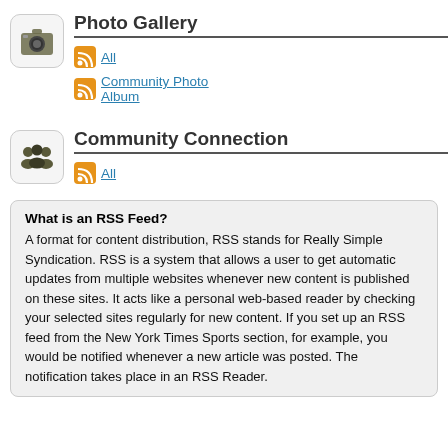Photo Gallery
All
Community Photo Album
Community Connection
All
What is an RSS Feed?
A format for content distribution, RSS stands for Really Simple Syndication. RSS is a system that allows a user to get automatic updates from multiple websites whenever new content is published on these sites. It acts like a personal web-based reader by checking your selected sites regularly for new content. If you set up an RSS feed from the New York Times Sports section, for example, you would be notified whenever a new article was posted. The notification takes place in an RSS Reader.